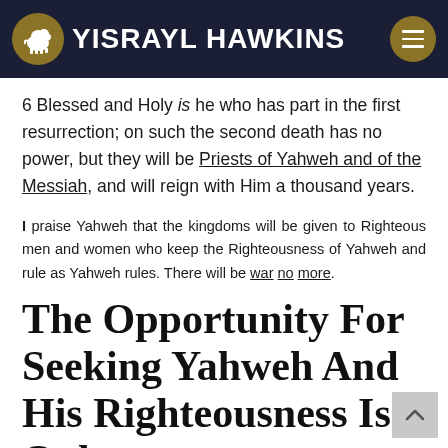YISRAYL HAWKINS
6 Blessed and Holy is he who has part in the first resurrection; on such the second death has no power, but they will be Priests of Yahweh and of the Messiah, and will reign with Him a thousand years.
I praise Yahweh that the kingdoms will be given to Righteous men and women who keep the Righteousness of Yahweh and rule as Yahweh rules. There will be war no more.
The Opportunity For Seeking Yahweh And His Righteousness Is Only